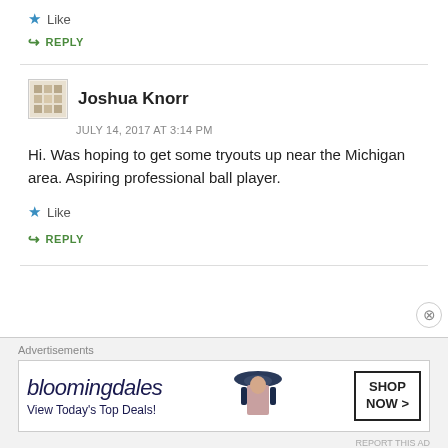★ Like
↪ REPLY
Joshua Knorr
JULY 14, 2017 AT 3:14 PM
Hi. Was hoping to get some tryouts up near the Michigan area. Aspiring professional ball player.
★ Like
↪ REPLY
[Figure (other): Bloomingdales advertisement banner. Text: bloomingdales, View Today's Top Deals!, SHOP NOW >. Shows woman with hat.]